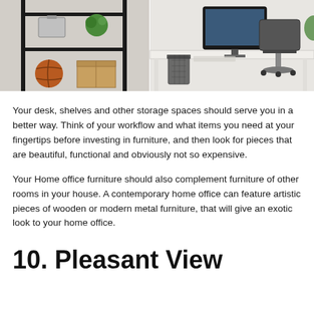[Figure (photo): Two home office scenes side by side: left shows a metal shelving unit with a suitcase, green plant, basketball, and cardboard box against a white brick wall; right shows a white desk with a computer monitor, gray office chair, and black waste bin.]
Your desk, shelves and other storage spaces should serve you in a better way. Think of your workflow and what items you need at your fingertips before investing in furniture, and then look for pieces that are beautiful, functional and obviously not so expensive.
Your Home office furniture should also complement furniture of other rooms in your house. A contemporary home office can feature artistic pieces of wooden or modern metal furniture, that will give an exotic look to your home office.
10. Pleasant View